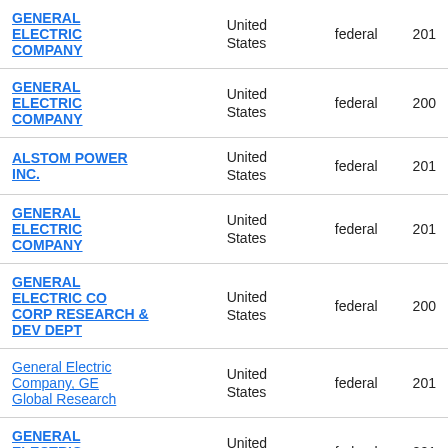| Name | Country | Type | Year |
| --- | --- | --- | --- |
| GENERAL ELECTRIC COMPANY | United States | federal | 201… |
| GENERAL ELECTRIC COMPANY | United States | federal | 200… |
| ALSTOM POWER INC. | United States | federal | 201… |
| GENERAL ELECTRIC COMPANY | United States | federal | 201… |
| GENERAL ELECTRIC CO CORP RESEARCH & DEV DEPT | United States | federal | 200… |
| General Electric Company, GE Global Research | United States | federal | 201… |
| GENERAL ELECTRIC COMPANY GE | United States | federal | 201… |